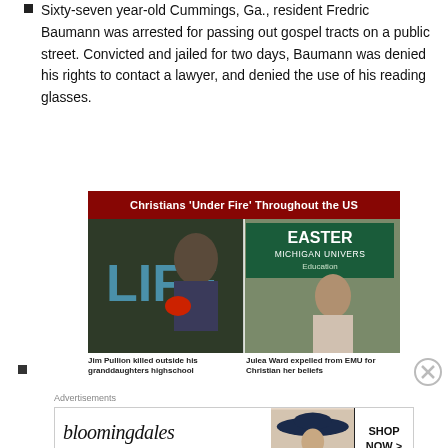Sixty-seven year-old Cummings, Ga., resident Fredric Baumann was arrested for passing out gospel tracts on a public street. Convicted and jailed for two days, Baumann was denied his rights to contact a lawyer, and denied the use of his reading glasses.
[Figure (photo): News image titled 'Christians Under Fire Throughout the US' showing two photos side by side: left shows a man holding a sign with 'LIFE' and right shows a young woman in front of an Eastern Michigan University sign.]
Jim Pullion killed outside his granddaughters highschool
Julea Ward expelled from EMU for Christian her beliefs
Advertisements
[Figure (other): Bloomingdales advertisement: bloomingdales logo, 'View Today's Top Deals!', image of woman with hat, 'SHOP NOW >' button]